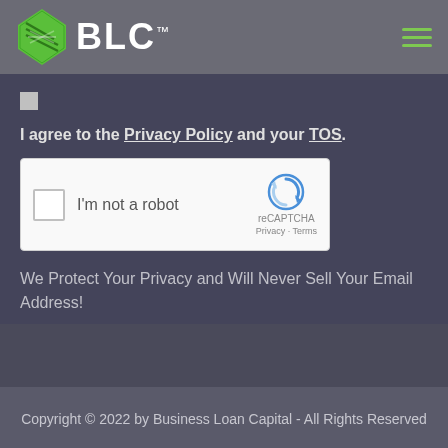[Figure (logo): BLC logo with green diamond/chevron shape and white BLC text with TM mark, plus hamburger menu icon on right]
I agree to the Privacy Policy and your TOS.
[Figure (screenshot): reCAPTCHA widget with checkbox, 'I'm not a robot' text, reCAPTCHA logo, Privacy and Terms links]
We Protect Your Privacy and Will Never Sell Your Email Address!
Copyright © 2022 by Business Loan Capital - All Rights Reserved